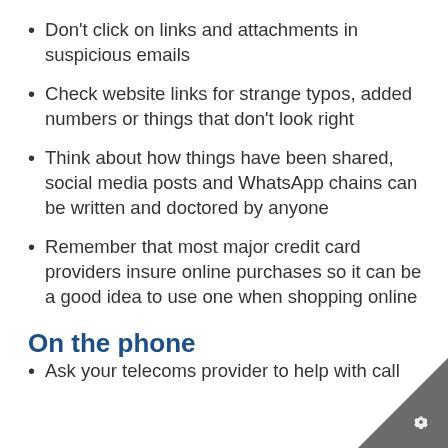Don't click on links and attachments in suspicious emails
Check website links for strange typos, added numbers or things that don't look right
Think about how things have been shared, social media posts and WhatsApp chains can be written and doctored by anyone
Remember that most major credit card providers insure online purchases so it can be a good idea to use one when shopping online
On the phone
Ask your telecoms provider to help with call